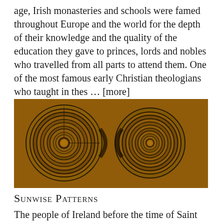age, Irish monasteries and schools were famed throughout Europe and the world for the depth of their knowledge and the quality of the education they gave to princes, lords and nobles who travelled from all parts to attend them. One of the most famous early Christian theologians who taught in thes … [more]
[Figure (photo): Close-up photograph of ancient spiral carved stone patterns in golden-brown tones, showing interlocking sunwise (clockwise) spiral motifs carved into rock surface.]
Sunwise Patterns
The people of Ireland before the time of Saint Patrick had many strange customs, and some of